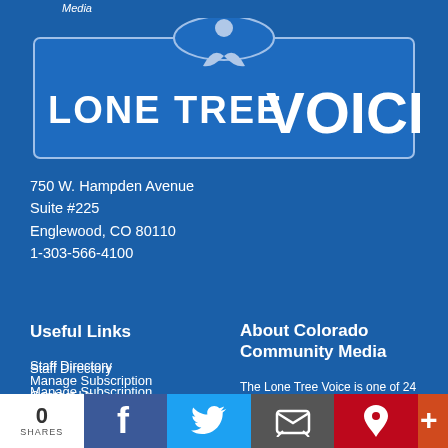Media
[Figure (logo): Lone Tree Voice newspaper logo — blue rectangular sign with stylized tree/person graphic and text 'LONE TREE VOICE' in white]
750 W. Hampden Avenue
Suite #225
Englewood, CO 80110
1-303-566-4100
Useful Links
Staff Directory
Manage Subscription
Contact Us
Terms Of Service
About Colorado Community Media
The Lone Tree Voice is one of 24 community newspapers published by Colorado Community Media. Click here